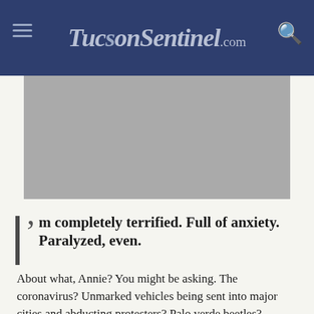TucsonSentinel.com
[Figure (photo): Gray placeholder image area below the header navigation bar]
'm completely terrified. Full of anxiety. Paralyzed, even.
About what, Annie? You might be asking. The coronavirus? Unmarked vehicles being sent into major cities and abducting protesters? Palo verde beetles?
Sure, yes, all of those things, but actually, mostly....
SCHOOL.
See, I'm a teacher. I've been teaching English for 17 years now. I've taught every grade from 6th grade to